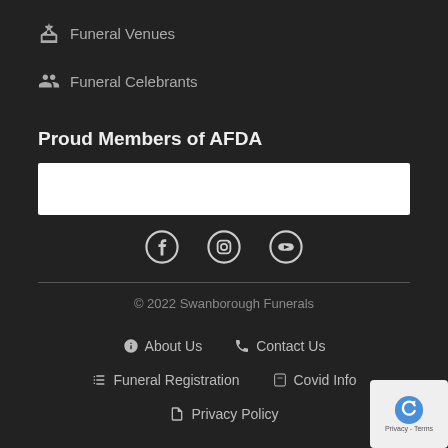Funeral Venues
Funeral Celebrants
Proud Members of AFDA
[Figure (other): White horizontal AFDA membership logo bar]
[Figure (other): Social media icons: Facebook, Instagram, YouTube]
© 2022 Swanborough Funerals
About Us
Contact Us
Funeral Registration
Covid Info
Privacy Policy